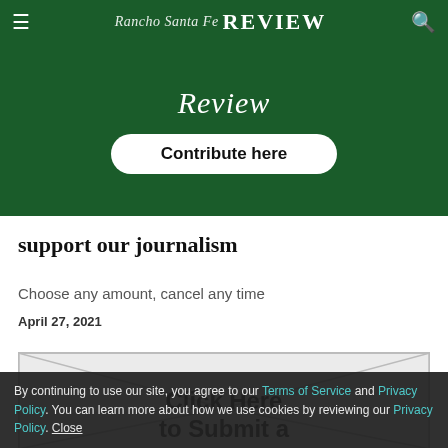Rancho Santa Fe REVIEW
[Figure (illustration): Dark green banner with 'Review' in white italic script and a white rounded 'Contribute here' button]
support our journalism
Choose any amount, cancel any time
April 27, 2021
[Figure (illustration): Envelope graphic with diagonal fold lines and 'Click Here to Submit a' text overlay]
By continuing to use our site, you agree to our Terms of Service and Privacy Policy. You can learn more about how we use cookies by reviewing our Privacy Policy. Close